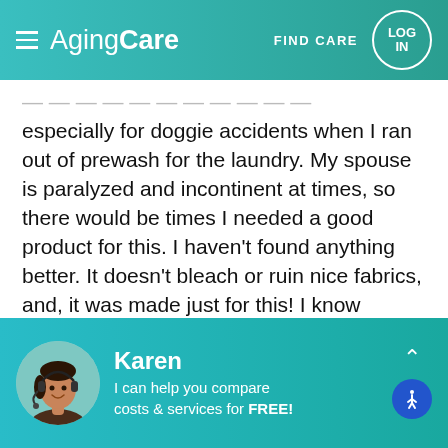AgingCare | FIND CARE | LOG IN
especially for doggie accidents when I ran out of prewash for the laundry. My spouse is paralyzed and incontinent at times, so there would be times I needed a good product for this. I haven't found anything better. It doesn't bleach or ruin nice fabrics, and, it was made just for this! I know peroxide works great on whites and other sturdy fabrics, but pet urine and stain products do a great job on everything, including spills on bibs and blankets. It's sold by many names, and AMazon has big jugs for cheap. (Nature's Miracle, Simple
[Figure (photo): Customer service representative Karen with headset, smiling]
Karen
I can help you compare costs & services for FREE!